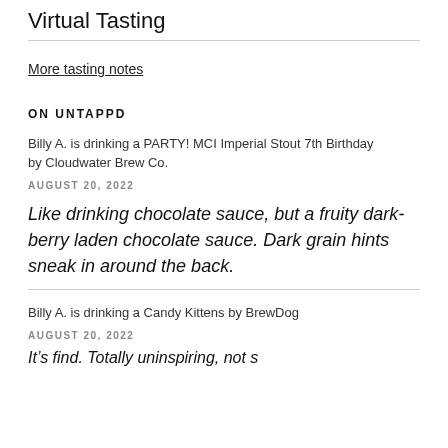Virtual Tasting
More tasting notes
ON UNTAPPD
Billy A. is drinking a PARTY! MCI Imperial Stout 7th Birthday by Cloudwater Brew Co.
AUGUST 20, 2022
Like drinking chocolate sauce, but a fruity dark-berry laden chocolate sauce. Dark grain hints sneak in around the back.
Billy A. is drinking a Candy Kittens by BrewDog
AUGUST 20, 2022